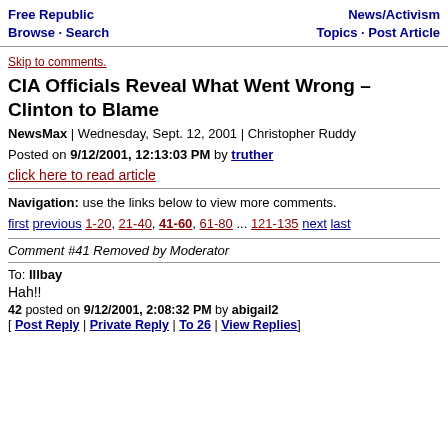Free Republic
Browse · Search
News/Activism
Topics · Post Article
Skip to comments.
CIA Officials Reveal What Went Wrong – Clinton to Blame
NewsMax | Wednesday, Sept. 12, 2001 | Christopher Ruddy
Posted on 9/12/2001, 12:13:03 PM by truther
click here to read article
Navigation: use the links below to view more comments.
first previous 1-20, 21-40, 41-60, 61-80 ... 121-135 next last
Comment #41 Removed by Moderator
To: Illbay
Hah!!
42 posted on 9/12/2001, 2:08:32 PM by abigail2
[ Post Reply | Private Reply | To 26 | View Replies]